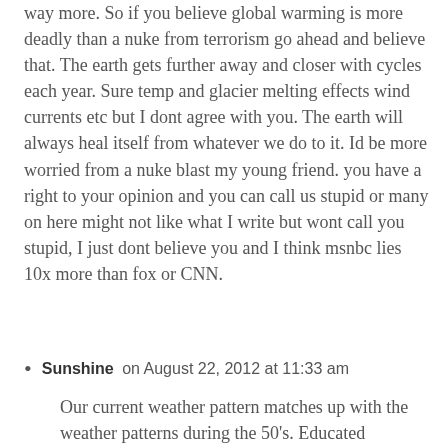way more. So if you believe global warming is more deadly than a nuke from terrorism go ahead and believe that. The earth gets further away and closer with cycles each year. Sure temp and glacier melting effects wind currents etc but I dont agree with you. The earth will always heal itself from whatever we do to it. Id be more worried from a nuke blast my young friend. you have a right to your opinion and you can call us stupid or many on here might not like what I write but wont call you stupid, I just dont believe you and I think msnbc lies 10x more than fox or CNN.
Sunshine on August 22, 2012 at 11:33 am
Our current weather pattern matches up with the weather patterns during the 50's. Educated meteorologist point this out when asked their opinion on global